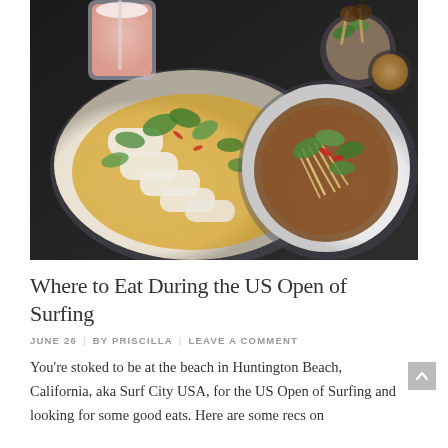[Figure (photo): Overhead photo of Asian food dishes on a dark table: a white oval platter with steamed rolls topped with herbs and chili, a white round bowl with a braised dish topped with shredded vegetables, herbs and chili slices, a pink drink in a glass, and skewers with dipping sauce in the upper right.]
Where to Eat During the US Open of Surfing
JUNE 26  |  BY PRISCILLA  |  LEAVE A COMMENT
You're stoked to be at the beach in Huntington Beach, California, aka Surf City USA, for the US Open of Surfing and looking for some good eats. Here are some recs on